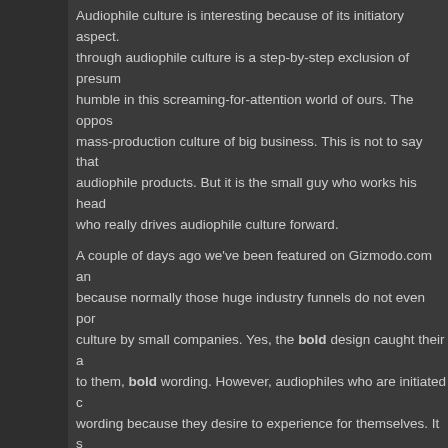Audiophile culture is interesting because of its initiatory aspect. through audiophile culture is a step-by-step exclusion of presum humble in this screaming-for-attention world of ours. The oppos mass-production culture of big business. This is not to say that audiophile products. But it is the small guy who works his head who really drives audiophile culture forward.
A couple of days ago we've been featured on Gizmodo.com an because normally those huge industry funnels do not even por culture by small companies. Yes, the bold design caught their a to them, bold wording. However, audiophiles who are initiated c wording because they desire to experience for themselves. It s culture is more about the joy of direct experience than anything know things in a roundabout way, but that's about it. The main t interested in is not looking like the next guy who also has such And for this reason, it is a highly personal matter, an intimate di about our own feelings about our goals and progress. Are we g What is the reason? Is it me? Emotion is part of me, but I am n partake in it in my evaluation. These constant questions we aud driving force of this interest in good sound, and it does lead to p
LEARN MORE
LessLoss Blackbody